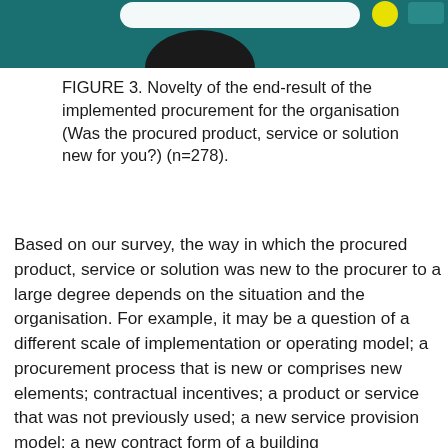[Figure (other): Top decorative banner in teal/dark green color with partial circular graphic element visible at bottom]
FIGURE 3. Novelty of the end-result of the implemented procurement for the organisation (Was the procured product, service or solution new for you?) (n=278).
Based on our survey, the way in which the procured product, service or solution was new to the procurer to a large degree depends on the situation and the organisation. For example, it may be a question of a different scale of implementation or operating model; a procurement process that is new or comprises new elements; contractual incentives; a product or service that was not previously used; a new service provision model; a new contract form of a building